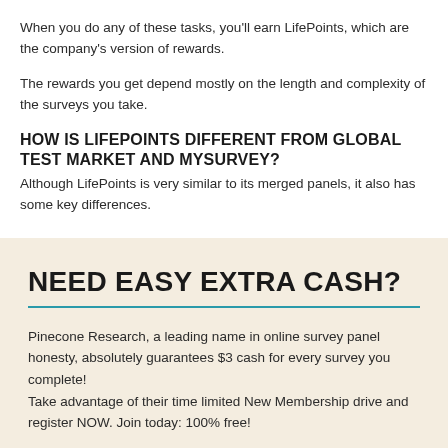When you do any of these tasks, you'll earn LifePoints, which are the company's version of rewards.
The rewards you get depend mostly on the length and complexity of the surveys you take.
HOW IS LIFEPOINTS DIFFERENT FROM GLOBAL TEST MARKET AND MYSURVEY?
Although LifePoints is very similar to its merged panels, it also has some key differences.
NEED EASY EXTRA CASH?
Pinecone Research, a leading name in online survey panel honesty, absolutely guarantees $3 cash for every survey you complete!
Take advantage of their time limited New Membership drive and register NOW. Join today: 100% free!